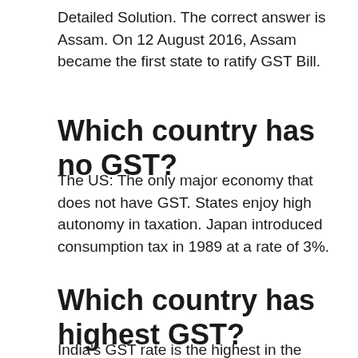Detailed Solution. The correct answer is Assam. On 12 August 2016, Assam became the first state to ratify GST Bill.
Which country has no GST?
The US: The only major economy that does not have GST. States enjoy high autonomy in taxation. Japan introduced consumption tax in 1989 at a rate of 3%.
Which country has highest GST?
India's GST rate is the highest in the world. The maximum GST rate slab of 28% introduced by India is the highest among